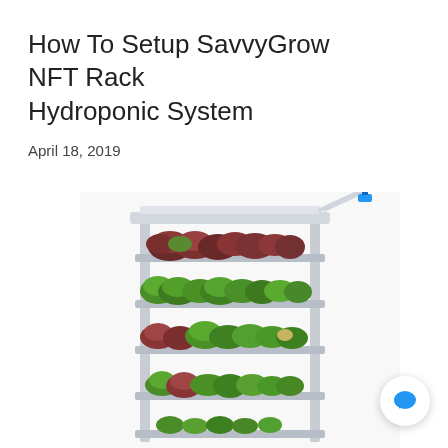How To Setup SavvyGrow NFT Rack Hydroponic System
April 18, 2019
[Figure (photo): A multi-tier NFT (Nutrient Film Technique) rack hydroponic system with aluminum/white frame, showing multiple shelves growing red and green lettuce varieties. A blue valve or connector is visible at the top right of the rack. The system has 3-4 visible tiers with lush leafy greens growing in channels.]